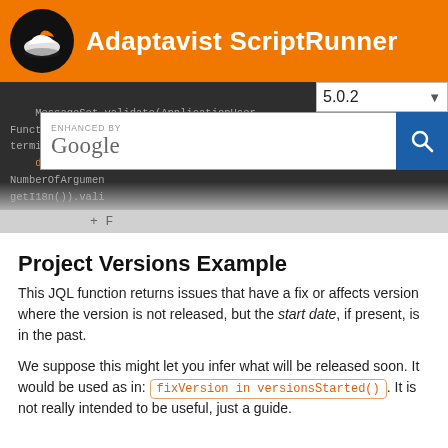Adaptavist ScriptRunner
[Figure (screenshot): Code editor screenshot showing Java/Groovy code with MessageSet validate method, overlaid with a version selector showing 5.0.2 and a Google enhanced search box]
Project Versions Example
This JQL function returns issues that have a fix or affects version where the version is not released, but the start date, if present, is in the past.
We suppose this might let you infer what will be released soon. It would be used as in: fixVersion in versionsStarted(). It is not really intended to be useful, just a guide.